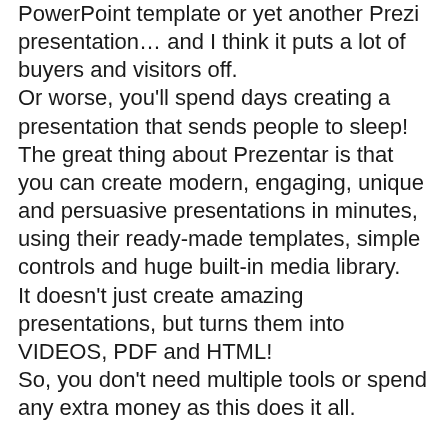PowerPoint template or yet another Prezi presentation… and I think it puts a lot of buyers and visitors off. Or worse, you'll spend days creating a presentation that sends people to sleep! The great thing about Prezentar is that you can create modern, engaging, unique and persuasive presentations in minutes, using their ready-made templates, simple controls and huge built-in media library. It doesn't just create amazing presentations, but turns them into VIDEOS, PDF and HTML! So, you don't need multiple tools or spend any extra money as this does it all.
You can use Prezentar to create